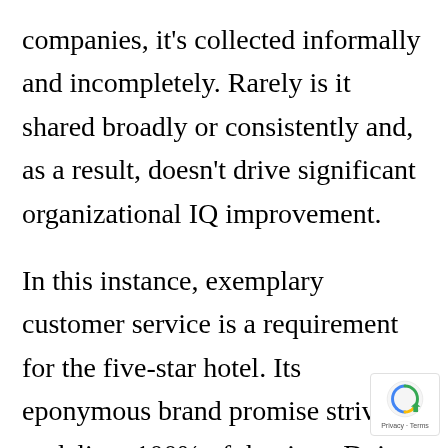companies, it's collected informally and incompletely. Rarely is it shared broadly or consistently and, as a result, doesn't drive significant organizational IQ improvement.
In this instance, exemplary customer service is a requirement for the five-star hotel. Its eponymous brand promise strives to deliver 100% of the time. Doing so requires vigilant, well-trained employees and consistently robust processes that function in a high-traffic